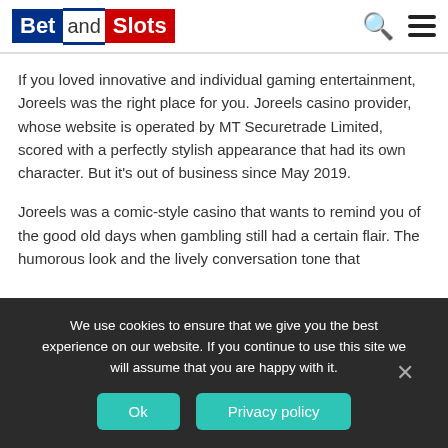Bet and Slots
If you loved innovative and individual gaming entertainment, Joreels was the right place for you. Joreels casino provider, whose website is operated by MT Securetrade Limited, scored with a perfectly stylish appearance that had its own character. But it's out of business since May 2019.
Joreels was a comic-style casino that wants to remind you of the good old days when gambling still had a certain flair. The humorous look and the lively conversation tone that
We use cookies to ensure that we give you the best experience on our website. If you continue to use this site we will assume that you are happy with it.